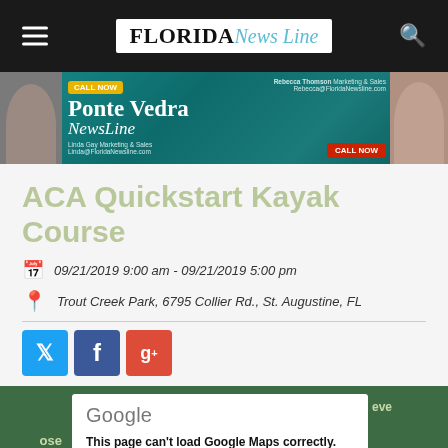Florida News Line
[Figure (photo): Ponte Vedra News Line advertisement banner with two sales representatives and Call Now buttons]
ACA Quickstart Kayak Course
09/21/2019 9:00 am - 09/21/2019 5:00 pm
Trout Creek Park, 6795 Collier Rd., St. Augustine, FL
[Figure (other): Social media sharing buttons: Twitter, Facebook, Google+]
[Figure (map): Google Maps embed showing error: This page can't load Google Maps correctly.]